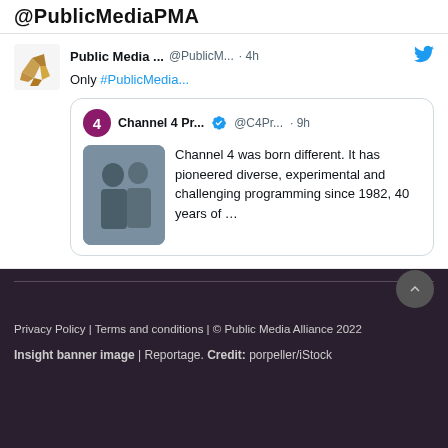@PublicMediaPMA
Public Media ... @PublicM... · 4h
Only #PublicMedia...
Channel 4 Pr... @C4Pr... · 9h
Channel 4 was born different. It has pioneered diverse, experimental and challenging programming since 1982, 40 years of …
Privacy Policy | Terms and conditions | © Public Media Alliance 2022
Insight banner image | Reportage. Credit: porpeller/iStock